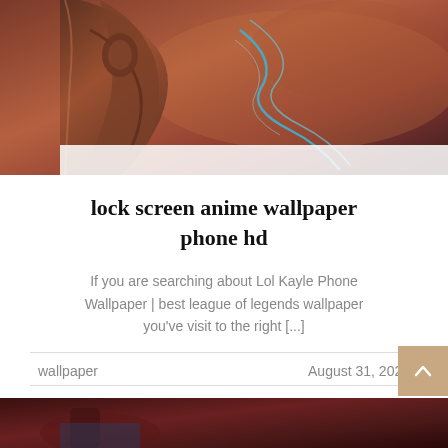[Figure (photo): Close-up of a fantasy armor or weapon with reddish-brown tones and blue energy effects — appears to be League of Legends game art (Kayle character)]
lock screen anime wallpaper phone hd
If you are searching about Lol Kayle Phone Wallpaper | best league of legends wallpaper you've visit to the right [...]
wallpaper
August 31, 2022
[Figure (photo): Partial view of another image at the bottom of the page — dark reddish tones, appears to be another anime/game wallpaper]